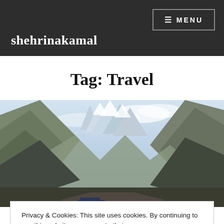shehrinakamal  ☰ MENU
Tag: Travel
[Figure (photo): Mountain valley landscape with jagged snow-capped peaks, rocky slopes, and a road visible at the bottom. A blue car is partially visible. Overcast sky with clouds.]
Privacy & Cookies: This site uses cookies. By continuing to use this website, you agree to their use.
To find out more, including how to control cookies, see here: Cookie Policy
Close and accept